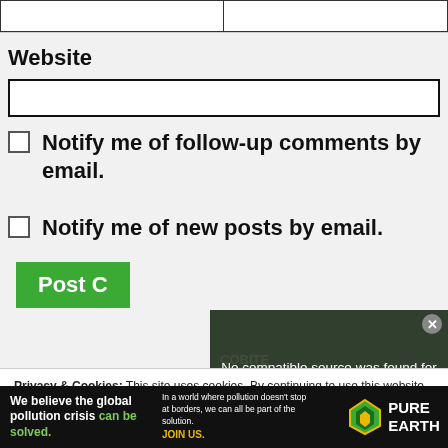Website
Notify me of follow-up comments by email.
Notify me of new posts by email.
Post Comment
[Figure (screenshot): Video player overlay showing 'No compatible source was found for this media.' with a close button and green food/cooking background]
Privacy & Cookies: This site uses cookies. By continuing to use this website, you agree to their use.
To find out more, including how to control cookies, see here: Cookie Policy
[Figure (infographic): Pure Earth advertisement banner: 'We believe the global pollution crisis can be solved.' with green text highlight and Pure Earth logo with diamond icon]